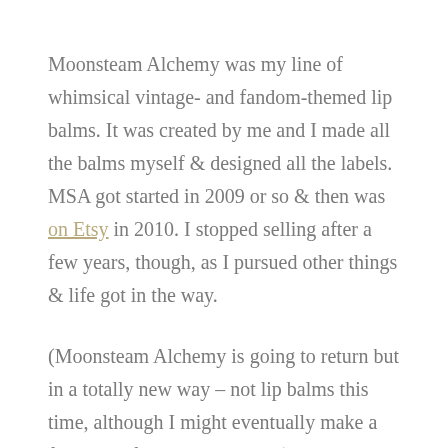Moonsteam Alchemy was my line of whimsical vintage- and fandom-themed lip balms. It was created by me and I made all the balms myself & designed all the labels. MSA got started in 2009 or so & then was on Etsy in 2010. I stopped selling after a few years, though, as I pursued other things & life got in the way.
(Moonsteam Alchemy is going to return but in a totally new way – not lip balms this time, although I might eventually make a few again for old times' sake.)